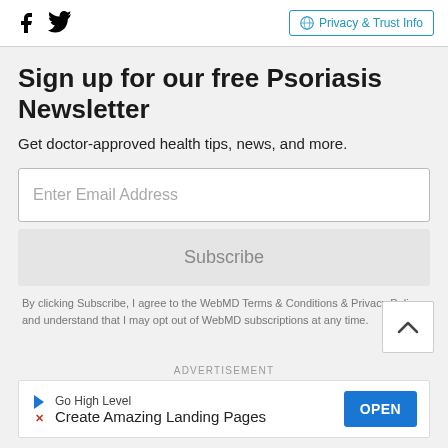Facebook Twitter | Privacy & Trust Info
Sign up for our free Psoriasis Newsletter
Get doctor-approved health tips, news, and more.
Enter Email Address
Subscribe
By clicking Subscribe, I agree to the WebMD Terms & Conditions & Privacy Policy and understand that I may opt out of WebMD subscriptions at any time.
ADVERTISEMENT
[Figure (screenshot): Advertisement banner: Go High Level - Create Amazing Landing Pages with OPEN button]